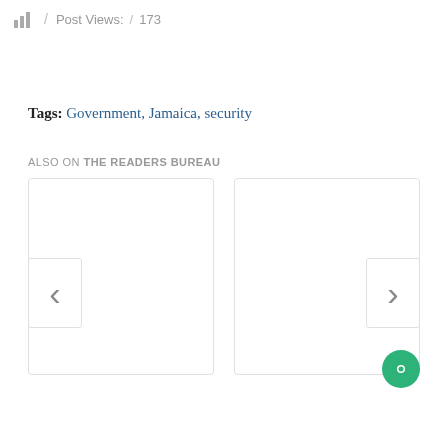Post Views: / 173
Tags: Government, Jamaica, security
ALSO ON THE READERS BUREAU
[Figure (other): Two content cards side by side with left and right navigation arrows, and a green chat button in the bottom right corner.]